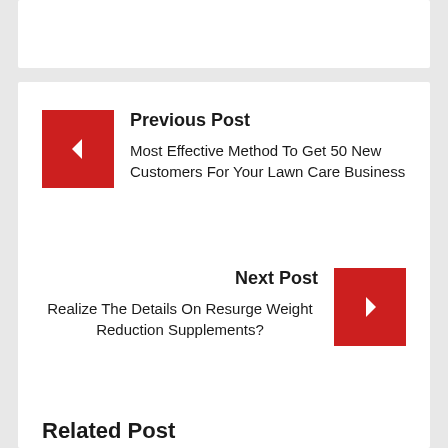Previous Post
Most Effective Method To Get 50 New Customers For Your Lawn Care Business
Next Post
Realize The Details On Resurge Weight Reduction Supplements?
Related Post
Baby Cot Mattress – Important Facts to Help You